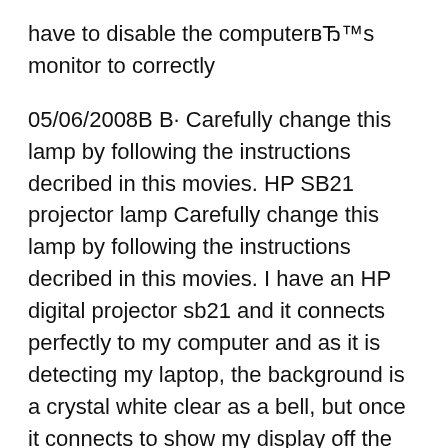have to disable the computer's monitor to correctly
05/06/2008В В· Carefully change this lamp by following the instructions decribed in this movies. HP SB21 projector lamp Carefully change this lamp by following the instructions decribed in this movies. I have an HP digital projector sb21 and it connects perfectly to my computer and as it is detecting my laptop, the background is a crystal white clear as a bell, but once it connects to show my display off the laptop the background image changes to green.
View and Download HP Sb21 - Digital Projector owner's manual online. HP Digital Projectors xb31